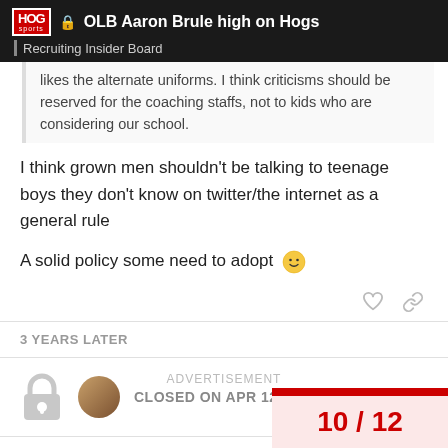OLB Aaron Brule high on Hogs — Recruiting Insider Board
likes the alternate uniforms. I think criticisms should be reserved for the coaching staffs, not to kids who are considering our school.
I think grown men shouldn't be talking to teenage boys they don't know on twitter/the internet as a general rule
A solid policy some need to adopt 🙂
3 YEARS LATER
CLOSED ON APR 12, '21
ADVERTISEMENT
10 / 12